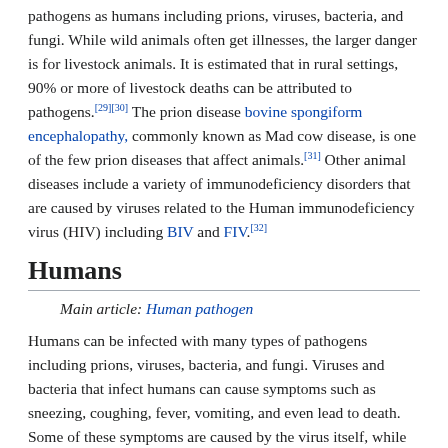pathogens as humans including prions, viruses, bacteria, and fungi. While wild animals often get illnesses, the larger danger is for livestock animals. It is estimated that in rural settings, 90% or more of livestock deaths can be attributed to pathogens.[29][30] The prion disease bovine spongiform encephalopathy, commonly known as Mad cow disease, is one of the few prion diseases that affect animals.[31] Other animal diseases include a variety of immunodeficiency disorders that are caused by viruses related to the Human immunodeficiency virus (HIV) including BIV and FIV.[32]
Humans
Main article: Human pathogen
Humans can be infected with many types of pathogens including prions, viruses, bacteria, and fungi. Viruses and bacteria that infect humans can cause symptoms such as sneezing, coughing, fever, vomiting, and even lead to death. Some of these symptoms are caused by the virus itself, while others are caused by the immune system of the infected